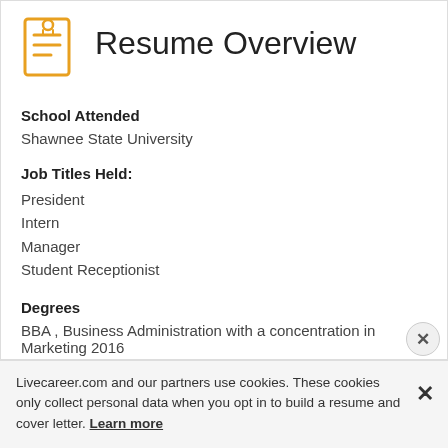Resume Overview
School Attended
Shawnee State University
Job Titles Held:
President
Intern
Manager
Student Receptionist
Degrees
BBA , Business Administration with a concentration in Marketing 2016
Livecareer.com and our partners use cookies. These cookies only collect personal data when you opt in to build a resume and cover letter. Learn more